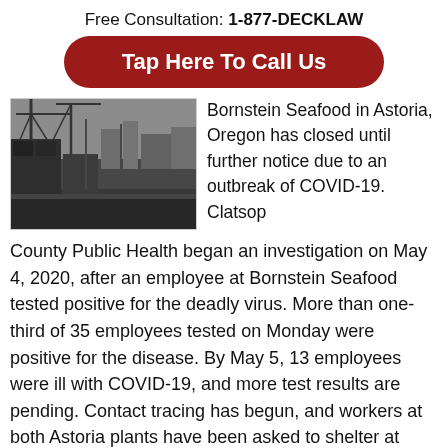Free Consultation: 1-877-DECKLAW
Tap Here To Call Us
[Figure (photo): Black and white photograph of an industrial waterfront or seafood processing facility with cranes and buildings]
Bornstein Seafood in Astoria, Oregon has closed until further notice due to an outbreak of COVID-19. Clatsop County Public Health began an investigation on May 4, 2020, after an employee at Bornstein Seafood tested positive for the deadly virus. More than one-third of 35 employees tested on Monday were positive for the disease. By May 5, 13 employees were ill with COVID-19, and more test results are pending. Contact tracing has begun, and workers at both Astoria plants have been asked to shelter at home until further notice.
Clatsop County Public Health reported that the 11 cases reported on Monday included four women—one aged